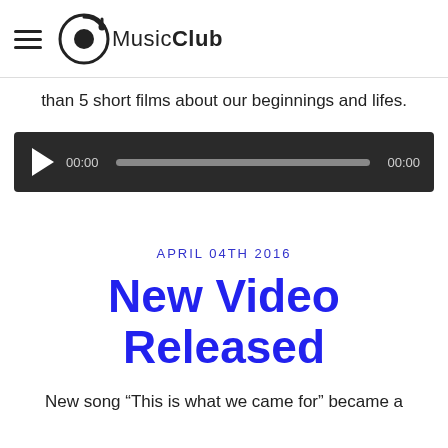MusicClub
than 5 short films about our beginnings and lifes.
[Figure (other): Audio player widget with play button, time display 00:00, progress bar, and end time 00:00 on dark background]
APRIL 04TH 2016
New Video Released
New song “This is what we came for” became a